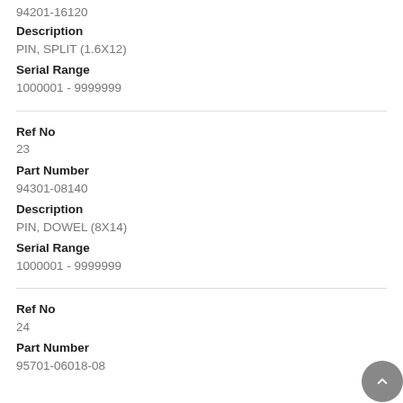94201-16120
Description
PIN, SPLIT (1.6X12)
Serial Range
1000001 - 9999999
Ref No
23
Part Number
94301-08140
Description
PIN, DOWEL (8X14)
Serial Range
1000001 - 9999999
Ref No
24
Part Number
95701-06018-08